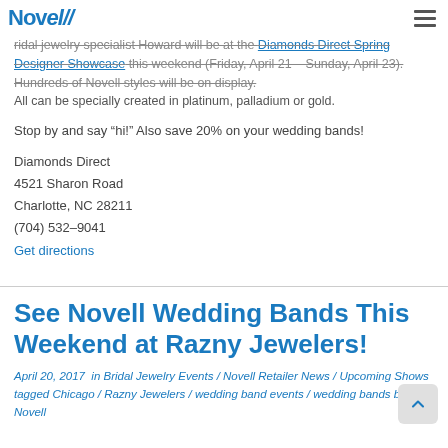Novell (logo) — navigation bar with hamburger menu
bridal jewelry specialist Howard will be at the Diamonds Direct Spring Designer Showcase this weekend (Friday, April 21 – Sunday, April 23). Hundreds of Novell styles will be on display. All can be specially created in platinum, palladium or gold.
Stop by and say “hi!” Also save 20% on your wedding bands!
Diamonds Direct
4521 Sharon Road
Charlotte, NC 28211
(704) 532–9041
Get directions
See Novell Wedding Bands This Weekend at Razny Jewelers!
April 20, 2017  in Bridal Jewelry Events / Novell Retailer News / Upcoming Shows  tagged Chicago / Razny Jewelers / wedding band events / wedding bands by Novell